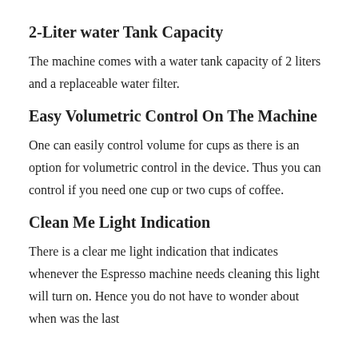2-Liter water Tank Capacity
The machine comes with a water tank capacity of 2 liters and a replaceable water filter.
Easy Volumetric Control On The Machine
One can easily control volume for cups as there is an option for volumetric control in the device. Thus you can control if you need one cup or two cups of coffee.
Clean Me Light Indication
There is a clear me light indication that indicates whenever the Espresso machine needs cleaning this light will turn on. Hence you do not have to wonder about when was the last